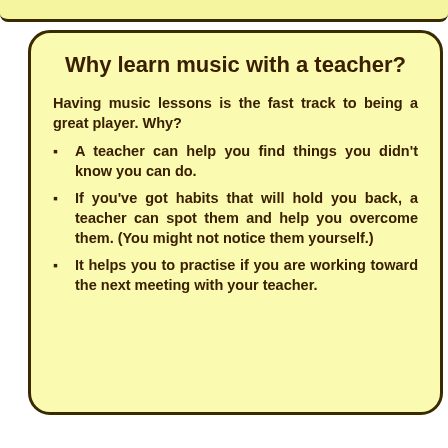Why learn music with a teacher?
Having music lessons is the fast track to being a great player.  Why?
A teacher can help you find things you didn't know you can do.
If you've got habits that will hold you back, a teacher can spot them and help you overcome them. (You might not notice them yourself.)
It helps you to practise if you are working toward the next meeting with your teacher.